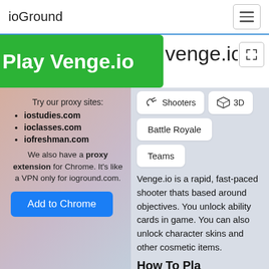ioGround
Play Venge.io
venge.io
Try our proxy sites:
iostudies.com
ioclasses.com
iofreshman.com
We also have a proxy extension for Chrome. It's like a VPN only for ioground.com.
Add to Chrome
Shooters
3D
Battle Royale
Teams
Venge.io is a rapid, fast-paced shooter thats based around objectives. You unlock ability cards in game. You can also unlock character skins and other cosmetic items.
How To Pla